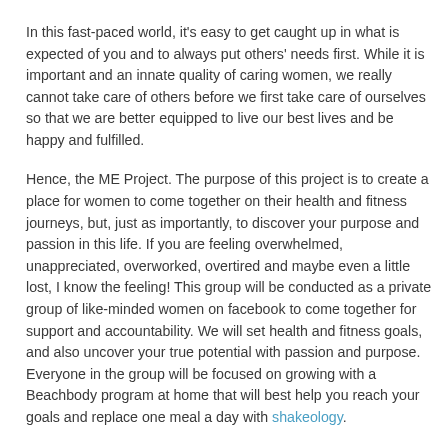In this fast-paced world, it's easy to get caught up in what is expected of you and to always put others' needs first. While it is important and an innate quality of caring women, we really cannot take care of others before we first take care of ourselves so that we are better equipped to live our best lives and be happy and fulfilled.
Hence, the ME Project. The purpose of this project is to create a place for women to come together on their health and fitness journeys, but, just as importantly, to discover your purpose and passion in this life. If you are feeling overwhelmed, unappreciated, overworked, overtired and maybe even a little lost, I know the feeling! This group will be conducted as a private group of like-minded women on facebook to come together for support and accountability. We will set health and fitness goals, and also uncover your true potential with passion and purpose. Everyone in the group will be focused on growing with a Beachbody program at home that will best help you reach your goals and replace one meal a day with shakeology.